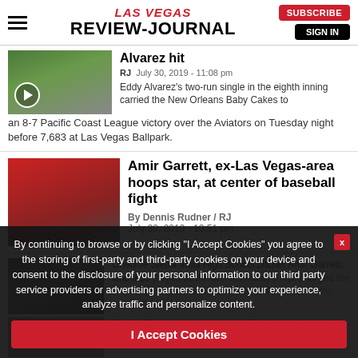LAS VEGAS REVIEW-JOURNAL
Alvarez hit
RJ  July 30, 2019 - 11:08 pm
Eddy Alvarez's two-run single in the eighth inning carried the New Orleans Baby Cakes to an 8-7 Pacific Coast League victory over the Aviators on Tuesday night before 7,683 at Las Vegas Ballpark.
Amir Garrett, ex-Las Vegas-area hoops star, at center of baseball fight
By Dennis Rudner / RJ
July 30, 2019 - 10:51 pm
Onetime Sierra Vista High School pitcher Amir Garrett, who also played basketball at Findlay Prep, charged the Pittsburgh dugout and took on what seemed like the entire Pirates team.
Seth Brown becomes Aviators fourth Player of the Week
By continuing to browse or by clicking "I Accept Cookies" you agree to the storing of first-party and third-party cookies on your device and consent to the disclosure of your personal information to our third party service providers or advertising partners to optimize your experience, analyze traffic and personalize content.
I Accept Cookies